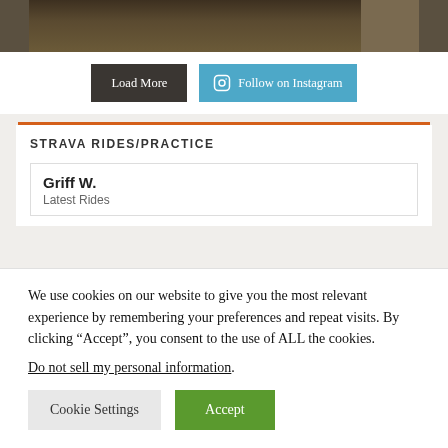[Figure (photo): Dark photograph strip showing boots/lower body on rocky ground]
Load More
Follow on Instagram
STRAVA RIDES/PRACTICE
Griff W.
Latest Rides
We use cookies on our website to give you the most relevant experience by remembering your preferences and repeat visits. By clicking “Accept”, you consent to the use of ALL the cookies.
Do not sell my personal information.
Cookie Settings
Accept